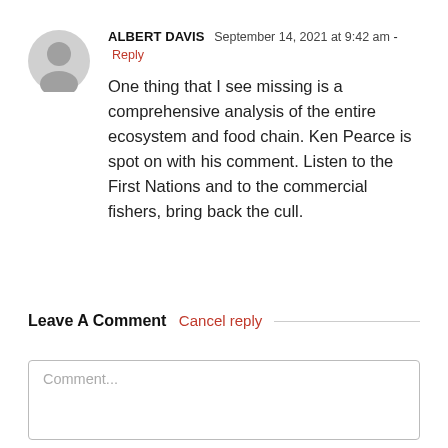ALBERT DAVIS  September 14, 2021 at 9:42 am - Reply
One thing that I see missing is a comprehensive analysis of the entire ecosystem and food chain. Ken Pearce is spot on with his comment. Listen to the First Nations and to the commercial fishers, bring back the cull.
Leave A Comment  Cancel reply